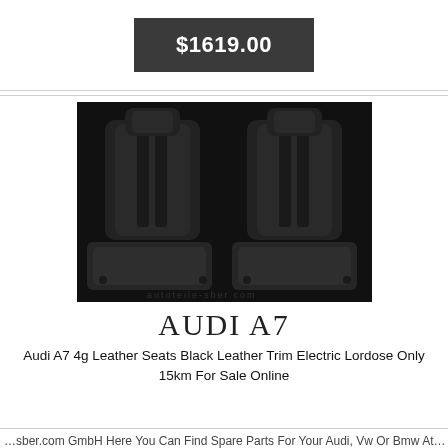$1619.00
[Figure (photo): Two black leather Audi A7 car seats (front seats disassembled) photographed on a dark background, showing seat backs with headrests and seat bases with mounting hardware]
AUDI A7
Audi A7 4g Leather Seats Black Leather Trim Electric Lordose Only 15km For Sale Online
…sber.com GmbH Here You Can Find Spare Parts For Your Audi, Vw Or Bmw At…